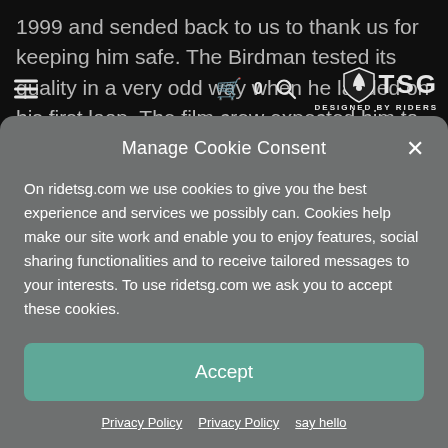[Figure (screenshot): Dark website background showing text about Birdman and Tony Hawk, with a navigation bar containing a hamburger menu, cart icon with '0', search icon, and TSG 'Designed by Riders' logo.]
Manage Cookie Consent
On ridetsg.com we use cookies to give you the best experience and services we possibly can. Cookies help make our site work and enable you to enjoy features, social sharing functionalities and to receive tailored messages to your interests. To use ridetsg.com we ask you to accept these cookies.
Accept
Privacy Policy  Privacy Policy  say hello